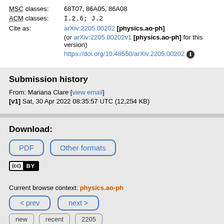MSC classes: 68T07, 86A05, 86A08
ACM classes: I.2.6; J.2
Cite as: arXiv:2205.00202 [physics.ao-ph] (or arXiv:2205.00202v1 [physics.ao-ph] for this version) https://doi.org/10.48550/arXiv.2205.00202
Submission history
From: Mariana Clare [view email]
[v1] Sat, 30 Apr 2022 08:35:57 UTC (12,254 KB)
Download:
PDF | Other formats
[Figure (other): Creative Commons CC BY license badge]
Current browse context: physics.ao-ph
< prev | next >
new | recent | 2205
Change to browse by: cs, cs.LG physics